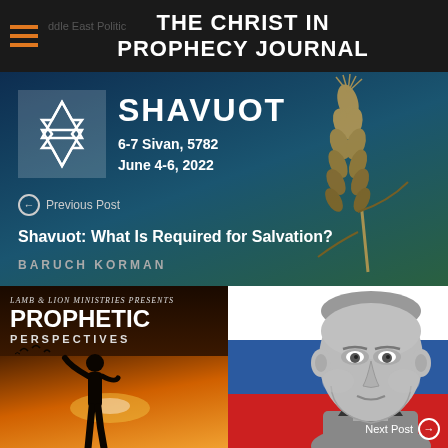THE CHRIST IN PROPHECY JOURNAL
[Figure (illustration): Shavuot article card with Star of David, wheat stalks on teal/dark blue background. Text: SHAVUOT, 6-7 Sivan, 5782, June 4-6, 2022. Navigation: Previous Post. Title: Shavuot: What Is Required for Salvation? Author: BARUCH KORMAN]
[Figure (illustration): Prophetic Perspectives article card. Left side: Lamb & Lion Ministries Presents PROPHETIC PERSPECTIVES with silhouette figure against sunset. Right side: Russian flag with Putin face. Navigation: Next Post]